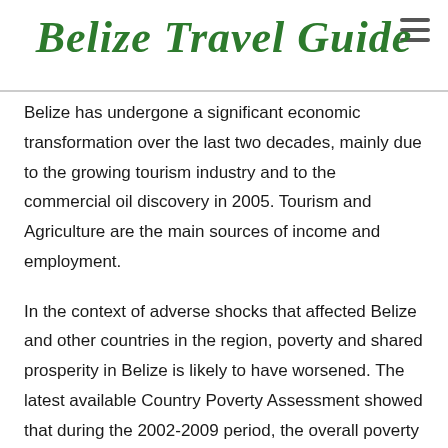Belize Travel Guide
Belize has undergone a significant economic transformation over the last two decades, mainly due to the growing tourism industry and to the commercial oil discovery in 2005. Tourism and Agriculture are the main sources of income and employment.
In the context of adverse shocks that affected Belize and other countries in the region, poverty and shared prosperity in Belize is likely to have worsened. The latest available Country Poverty Assessment showed that during the 2002-2009 period, the overall poverty rate increased from 34% to 43%...